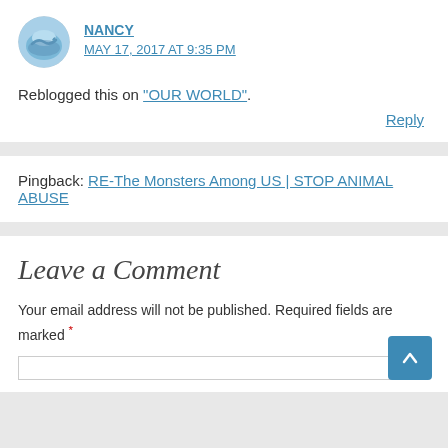[Figure (photo): Avatar photo of Nancy - a circular profile image showing dolphins or ocean scene]
NANCY
MAY 17, 2017 AT 9:35 PM
Reblogged this on "OUR WORLD".
Reply
Pingback: RE-The Monsters Among US | STOP ANIMAL ABUSE
Leave a Comment
Your email address will not be published. Required fields are marked *